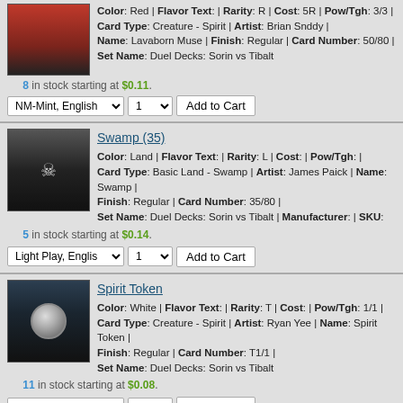Color: Red | Flavor Text: | Rarity: R | Cost: 5R | Pow/Tgh: 3/3 | Card Type: Creature - Spirit | Artist: Brian Snddy | Name: Lavaborn Muse | Finish: Regular | Card Number: 50/80 | Set Name: Duel Decks: Sorin vs Tibalt
8 in stock starting at $0.11.
NM-Mint, English | 1 | Add to Cart
Swamp (35)
Color: Land | Flavor Text: | Rarity: L | Cost: | Pow/Tgh: | Card Type: Basic Land - Swamp | Artist: James Paick | Name: Swamp | Finish: Regular | Card Number: 35/80 | Set Name: Duel Decks: Sorin vs Tibalt | Manufacturer: | SKU:
5 in stock starting at $0.14.
Light Play, English | 1 | Add to Cart
Spirit Token
Color: White | Flavor Text: | Rarity: T | Cost: | Pow/Tgh: 1/1 | Card Type: Creature - Spirit | Artist: Ryan Yee | Name: Spirit Token | Finish: Regular | Card Number: T1/1 | Set Name: Duel Decks: Sorin vs Tibalt
11 in stock starting at $0.08.
Light Play, English | 1 | Add to Cart
Swamp (36)
Color: Land | Flavor Text: | Rarity: L | Cost: | Pow/Tgh: | Card Type: Basic Land - Swamp | Artist: Adam Paquette | Name: Swamp | Finish: Regular | Card Number: 36/80 | Set Name: Duel Decks: Sorin vs Tibalt | Manufacturer: | SKU: